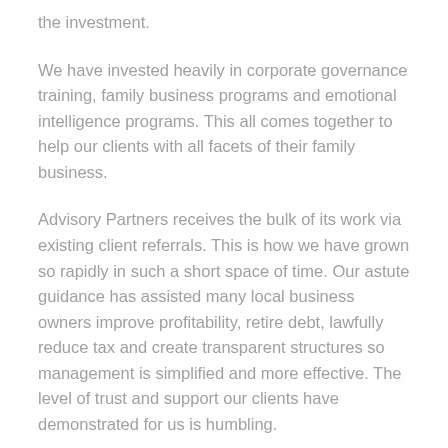the investment.
We have invested heavily in corporate governance training, family business programs and emotional intelligence programs. This all comes together to help our clients with all facets of their family business.
Advisory Partners receives the bulk of its work via existing client referrals. This is how we have grown so rapidly in such a short space of time. Our astute guidance has assisted many local business owners improve profitability, retire debt, lawfully reduce tax and create transparent structures so management is simplified and more effective. The level of trust and support our clients have demonstrated for us is humbling.